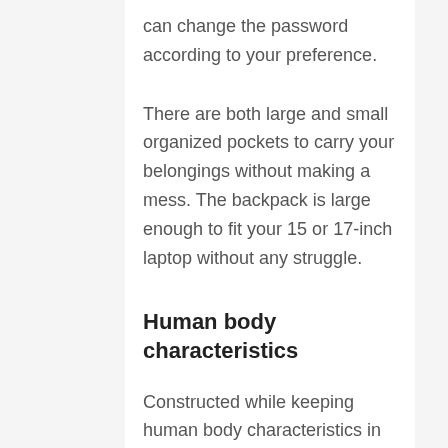can change the password according to your preference.
There are both large and small organized pockets to carry your belongings without making a mess. The backpack is large enough to fit your 15 or 17-inch laptop without any struggle.
Human body characteristics
Constructed while keeping human body characteristics in mind, the backpack is comfortable to wear. You will not feel much pressure